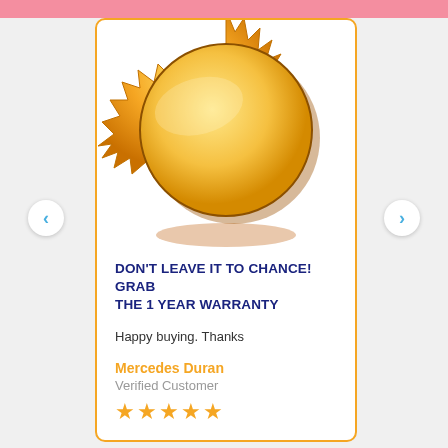[Figure (illustration): Gold/orange starburst seal medal badge, partially cropped at top, centered on a white card with orange border]
DON'T LEAVE IT TO CHANCE! GRAB THE 1 YEAR WARRANTY
Happy buying. Thanks
Mercedes Duran
Verified Customer
★★★★★